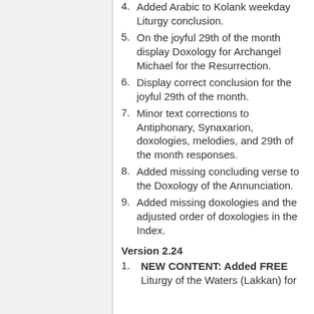4. Added Arabic to Kolank weekday Liturgy conclusion.
5. On the joyful 29th of the month display Doxology for Archangel Michael for the Resurrection.
6. Display correct conclusion for the joyful 29th of the month.
7. Minor text corrections to Antiphonary, Synaxarion, doxologies, melodies, and 29th of the month responses.
8. Added missing concluding verse to the Doxology of the Annunciation.
9. Added missing doxologies and the adjusted order of doxologies in the Index.
Version 2.24
1. NEW CONTENT: Added FREE Liturgy of the Waters (Lakkan) for